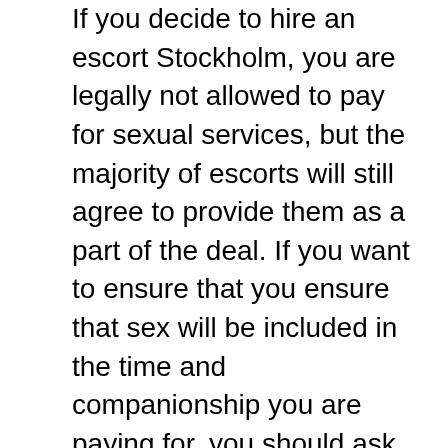If you decide to hire an escort Stockholm, you are legally not allowed to pay for sexual services, but the majority of escorts will still agree to provide them as a part of the deal. If you want to ensure that you ensure that sex will be included in the time and companionship you are paying for, you should ask for full service or full companionship. If the escort agrees to provide that, you will know the two of you are on the same page.
Differences between individual escorts and escort bureaus
Speaking of hiring an escort from stockholm, there are two major categories of escorts; individual escorts and escorts employed by an escort agency. Both have their ups and downs and it is up to you to choose the call girl you like best. That being said, if you are a first time customer, if you are new in town, and if you don't